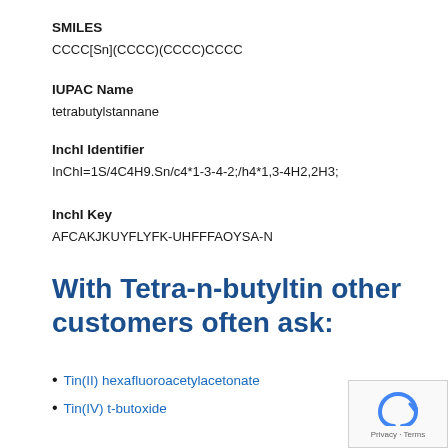SMILES
CCCC[Sn](CCCC)(CCCC)CCCC
IUPAC Name
tetrabutylstannane
InchI Identifier
InChI=1S/4C4H9.Sn/c4*1-3-4-2;/h4*1,3-4H2,2H3;
InchI Key
AFCAKJKUYFLYFK-UHFFFAOYSA-N
With Tetra-n-butyltin other customers often ask:
Tin(II) hexafluoroacetylacetonate
Tin(IV) t-butoxide